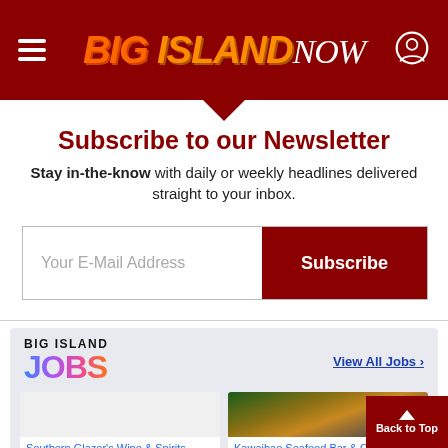Big Island Now
Subscribe to our Newsletter
Stay in-the-know with daily or weekly headlines delivered straight to your inbox.
[Figure (screenshot): Email input field with placeholder 'Your E-Mail Address' and a dark red Subscribe button]
[Figure (logo): Big Island Jobs logo with colorful gradient text]
View All Jobs >
Southern Glazer's Wine & Spirits
[Figure (photo): Photo of Kawaihae Seafood Bar & Grill restaurant exterior at night]
Kawaihae Seafood Bar & Grill